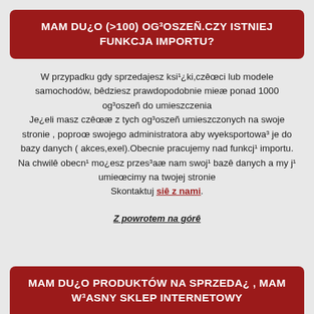MAM DU¿O (>100) OG³OSZEÑ.CZY ISTNIEJ FUNKCJA IMPORTU?
W przypadku gdy sprzedajesz ksi¹¿ki,czêœci lub modele samochodów, bêdziesz prawdopodobnie mieæ ponad 1000 og³oszeñ do umieszczenia Je¿eli masz czêœæ z tych og³oszeñ umieszczonych na swoje stronie , poproœ swojego administratora aby wyeksportowa³ je do bazy danych ( akces,exel).Obecnie pracujemy nad funkcj¹ importu. Na chwilê obecn¹ mo¿esz przes³aæ nam swoj¹ bazê danych a my j¹ umieœcimy na twojej stronie Skontaktuj siê z nami.
Z powrotem na górê
MAM DU¿O PRODUKTÓW NA SPRZEDA¿ , MAM W³ASNY SKLEP INTERNETOWY